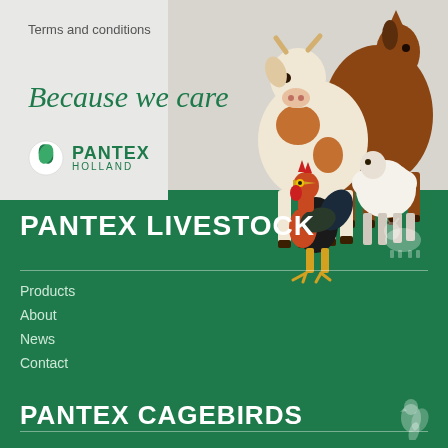Terms and conditions
Because we care
[Figure (logo): Pantex Holland logo with green circular leaf icon, text PANTEX HOLLAND]
[Figure (photo): Farm animals group photo: cow, horse, sheep, rooster on light grey background]
PANTEX LIVESTOCK
Products
About
News
Contact
PANTEX CAGEBIRDS
[Figure (illustration): Small white cattle silhouette icon]
[Figure (illustration): Small white bird/parrot silhouette icon]